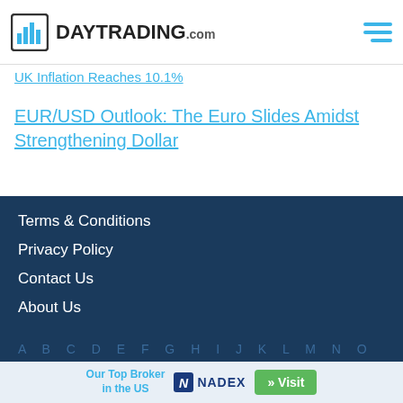DAYTRADING.com
UK Inflation Reaches 10.1%
EUR/USD Outlook: The Euro Slides Amidst Strengthening Dollar
Terms & Conditions
Privacy Policy
Contact Us
About Us
A B C D E F G H I J K L M N O P Q R S T U V W X Y Z
Our Top Broker in the US  NADEX  » Visit